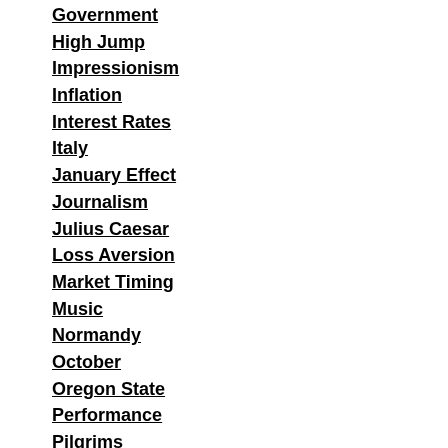Government
High Jump
Impressionism
Inflation
Interest Rates
Italy
January Effect
Journalism
Julius Caesar
Loss Aversion
Market Timing
Music
Normandy
October
Oregon State
Performance
Pilgrims
Planning
Politics